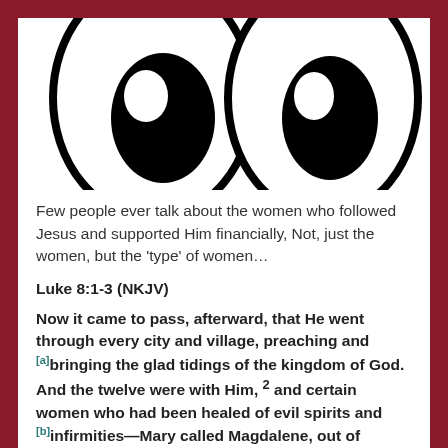[Figure (illustration): Large cartoon googly eyes illustration — two wide oval eyes with black outlines, large black pupils, and white glare spots, cropped at top]
Few people ever talk about the women who followed Jesus and supported Him financially, Not, just the women, but the 'type' of women…
Luke 8:1-3 (NKJV)
Now it came to pass, afterward, that He went through every city and village, preaching and [a]bringing the glad tidings of the kingdom of God. And the twelve were with Him, 2 and certain women who had been healed of evil spirits and [b]infirmities—Mary called Magdalene, out of